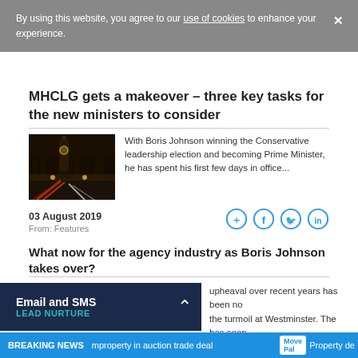By using this website, you agree to our use of cookies to enhance your experience.
MHCLG gets a makeover – three key tasks for the new ministers to consider
[Figure (photo): Night-time photo of Big Ben and Westminster, with light trails from traffic on the road]
With Boris Johnson winning the Conservative leadership election and becoming Prime Minister, he has spent his first few days in office...
03 August 2019
From: Features
What now for the agency industry as Boris Johnson takes over?
upheaval over recent years has been no the turmoil at Westminster. The has seen.
Email and SMS
LEAD NURTURE
BREAKING NEWS  mproperty in auction trade deal  Move Pal  Property de